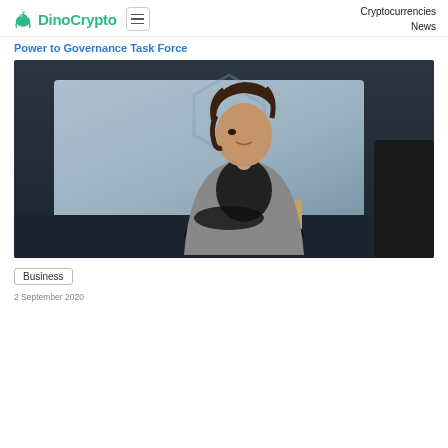DinoCrypto  Cryptocurrencies  News
Power to Governance Task Force
[Figure (photo): Man with dark curly hair wearing a grey blazer over a black t-shirt, sitting cross-legged on a chair at what appears to be a panel event, with a geometric logo backdrop behind him. Another person in dark clothing is partially visible at the right edge.]
Business
2 September 2020